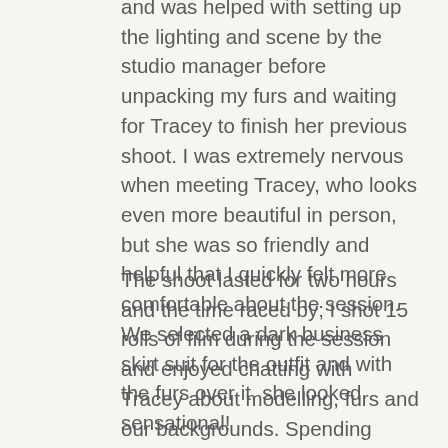and was helped with setting up the lighting and scene by the studio manager before unpacking my furs and waiting for Tracey to finish her previous shoot. I was extremely nervous when meeting Tracey, who looks even more beautiful in person, but she was so friendly and helpful that I quickly felt more comfortable about the session. We selected a dark business skirt suit for the outfit and with the furs over it, she looked sensational!
The shoot lasted for two hours and the time raced by; I shot 15 rolls of film during the session and enjoyed chatting with Tracey about modelling, furs and our backgrounds. Spending such a time in the company of a beautiful and charming woman in furs is an incredible experience and it was a shame for that session to end but we said our goodbyes, I paid the studio